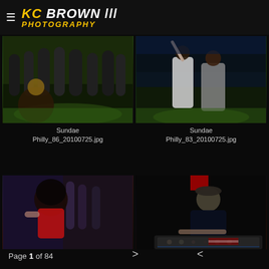KC BROWN PHOTOGRAPHY
[Figure (photo): People dancing at a nightclub/event, green floor lighting, crowd in background]
Sundae Philly_86_20100725.jpg
[Figure (photo): Two women dancing at an outdoor/indoor event, one in white dress, one in gray top with black shorts]
Sundae Philly_83_20100725.jpg
[Figure (photo): Woman with curly hair in red top dancing at event, another person in background]
[Figure (photo): DJ working at turntables/mixer, wearing a cap, dark venue with red lighting]
Page 1 of 84